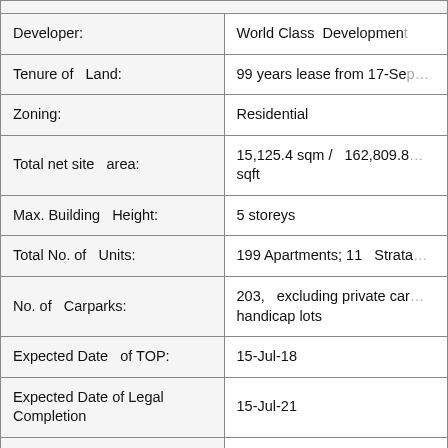| Field | Value |
| --- | --- |
| Developer: | World Class Development |
| Tenure of Land: | 99 years lease from 17-Se... |
| Zoning: | Residential |
| Total net site area: | 15,125.4 sqm / 162,809.8 sqft |
| Max. Building Height: | 5 storeys |
| Total No. of Units: | 199 Apartments; 11 Strata... |
| No. of Carparks: | 203, excluding private car... handicap lots |
| Expected Date of TOP: | 15-Jul-18 |
| Expected Date of Legal Completion | 15-Jul-21 |
| Architect: | P&T Architect... |